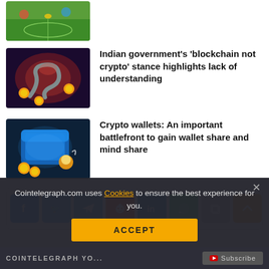[Figure (illustration): Partial cropped image at top - sports/gaming illustration with green field background]
[Figure (illustration): Blockchain themed illustration with snake/robot and coins]
Indian government’s ‘blockchain not crypto’ stance highlights lack of understanding
[Figure (illustration): Crypto wallets illustration with blue glowing wallet and gold coins]
Crypto wallets: An important battlefront to gain wallet share and mind share
[Figure (infographic): Social share buttons: Facebook, Twitter, Telegram, Reddit, LinkedIn, WhatsApp, Copy, Scroll-to-top]
Cointelegraph.com uses Cookies to ensure the best experience for you.
ACCEPT
COINTELEGRAPH YO... Subscribe